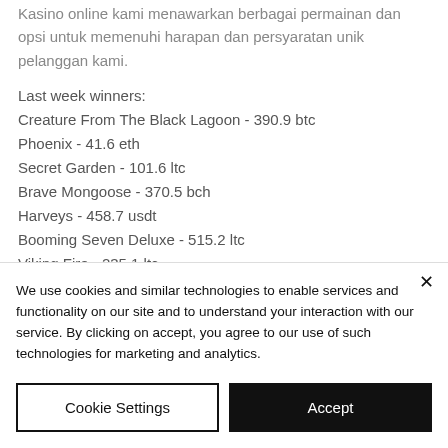Kasino online kami menawarkan berbagai permainan dan opsi untuk memenuhi harapan dan persyaratan unik pelanggan kami.
Last week winners:
Creature From The Black Lagoon - 390.9 btc
Phoenix - 41.6 eth
Secret Garden - 101.6 ltc
Brave Mongoose - 370.5 bch
Harveys - 458.7 usdt
Booming Seven Deluxe - 515.2 ltc
Viking Fire - 235.1 ltc
Kicka$$ - 739.4 bch
We use cookies and similar technologies to enable services and functionality on our site and to understand your interaction with our service. By clicking on accept, you agree to our use of such technologies for marketing and analytics.
Cookie Settings
Accept